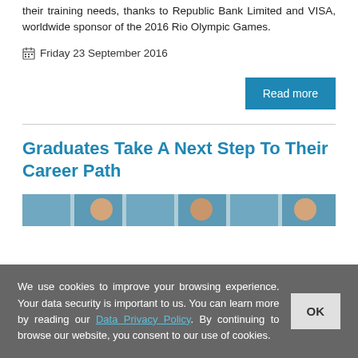their training needs, thanks to Republic Bank Limited and VISA, worldwide sponsor of the 2016 Rio Olympic Games.
Friday 23 September 2016
Read more
Graduates Take A Next Step To Their Career Path
[Figure (photo): Photo strip showing graduates or people in a classroom/meeting setting with blue and white decor]
We use cookies to improve your browsing experience. Your data security is important to us. You can learn more by reading our Data Privacy Policy. By continuing to browse our website, you consent to our use of cookies.
OK